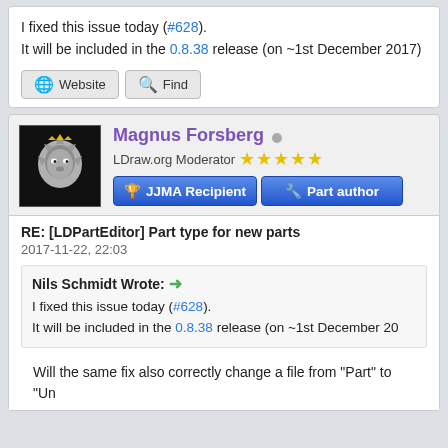I fixed this issue today (#628). It will be included in the 0.8.38 release (on ~1st December 2017).
Website  Find
Magnus Forsberg
LDraw.org Moderator ★★★★★
JJMA Recipient  Part author
RE: [LDPartEditor] Part type for new parts
2017-11-22, 22:03
Nils Schmidt Wrote: I fixed this issue today (#628). It will be included in the 0.8.38 release (on ~1st December 20...
Will the same fix also correctly change a file from "Part" to "Un...